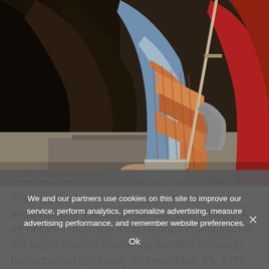[Figure (illustration): A painting depicting figures in medieval dress, close-up of lower bodies and robes; dark draped fabric on the left, colorful attire and a sword visible on the right. Appears to be a historical painting of the murder of Thomas Becket.]
© Universal Images Group via Getty
Thomas Becket was a hugely influential archbishop of Canterbury in the 12th century. A rift between him and King Henry II culminated in the king's knights murdering the Archbishop in his cathedral (pictured) on December 29, 1170
In addition to Becket's killing, the Ancestors of Christ panels
We and our partners use cookies on this site to improve our service, perform analytics, personalize advertising, measure advertising performance, and remember website preferences.
Ok